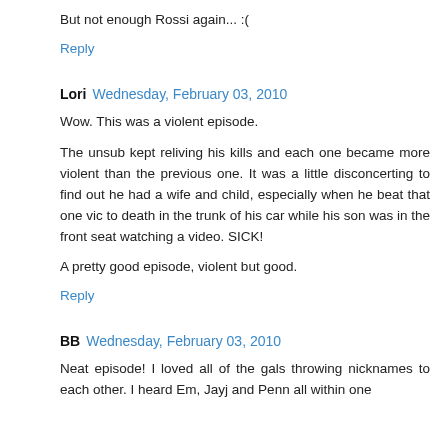But not enough Rossi again... :(
Reply
Lori  Wednesday, February 03, 2010
Wow. This was a violent episode.
The unsub kept reliving his kills and each one became more violent than the previous one. It was a little disconcerting to find out he had a wife and child, especially when he beat that one vic to death in the trunk of his car while his son was in the front seat watching a video. SICK!
A pretty good episode, violent but good.
Reply
BB  Wednesday, February 03, 2010
Neat episode! I loved all of the gals throwing nicknames to each other. I heard Em, Jayj and Penn all within one